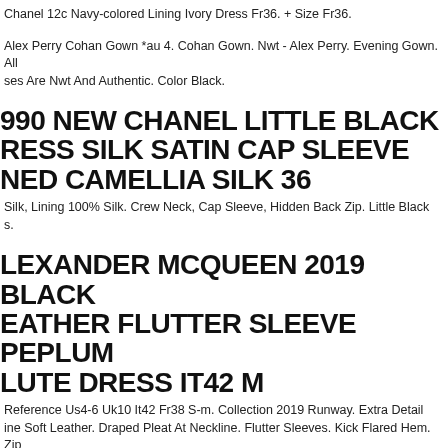Chanel 12c Navy-colored Lining Ivory Dress Fr36. + Size Fr36.
Alex Perry Cohan Gown *au 4. Cohan Gown. Nwt - Alex Perry. Evening Gown. All Dresses Are Nwt And Authentic. Color Black.
990 NEW CHANEL LITTLE BLACK DRESS SILK SATIN CAP SLEEVE LINED CAMELLIA SILK 36
Silk, Lining 100% Silk. Crew Neck, Cap Sleeve, Hidden Back Zip. Little Black s.
ALEXANDER MCQUEEN 2019 BLACK LEATHER FLUTTER SLEEVE PEPLUM LUTE DRESS IT42 M
Reference Us4-6 Uk10 It42 Fr38 S-m. Collection 2019 Runway. Extra Detail ine Soft Leather. Draped Pleat At Neckline. Flutter Sleeves. Kick Flared Hem. Zip ure. Fully Lined In Silk.
e & Gabbana Dress Women's Beige Crystal Embellished Gown Shift It40/us4/m. e & Gabbana. Model Full Length Sheath. Silk Inner Lining. Crystal Clear With Whit s. Lining 100% Silk. Material 70% Ac, 10% Pl, 20% Glass. Color Beige. Back Zippe re.